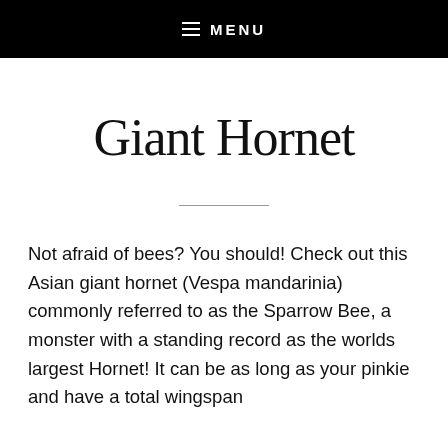MENU
Giant Hornet
Not afraid of bees? You should! Check out this Asian giant hornet (Vespa mandarinia) commonly referred to as the Sparrow Bee, a monster with a standing record as the worlds largest Hornet! It can be as long as your pinkie and have a total wingspan